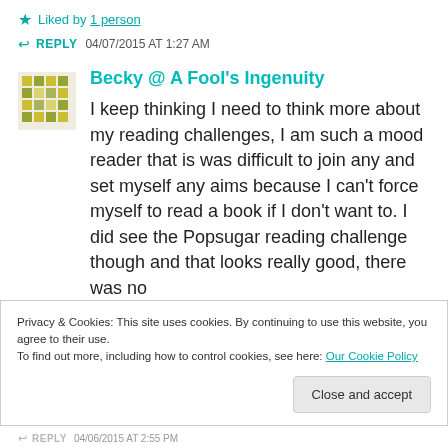★ Liked by 1 person
↩ REPLY  04/07/2015 AT 1:27 AM
Becky @ A Fool's Ingenuity
I keep thinking I need to think more about my reading challenges, I am such a mood reader that is was difficult to join any and set myself any aims because I can't force myself to read a book if I don't want to. I did see the Popsugar reading challenge though and that looks really good, there was no
Privacy & Cookies: This site uses cookies. By continuing to use this website, you agree to their use.
To find out more, including how to control cookies, see here: Our Cookie Policy
Close and accept
↩ REPLY  04/06/2015 AT 2:55 PM